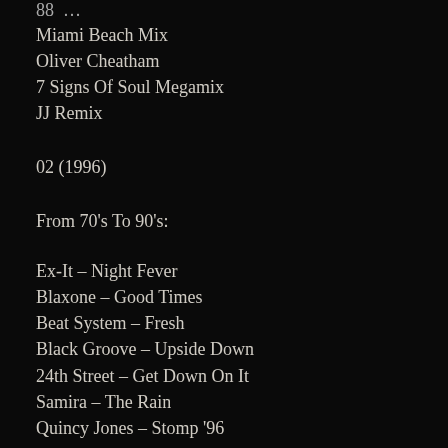Miami Beach Mix
Oliver Cheatham
7 Signs Of Soul Megamix
JJ Remix
02 (1996)
From 70's To 90's:
Ex-It – Night Fever
Blaxone – Good Times
Beat System – Fresh
Black Groove – Upside Down
24th Street – Get Down On It
Samira – The Rain
Quincy Jones – Stomp '96